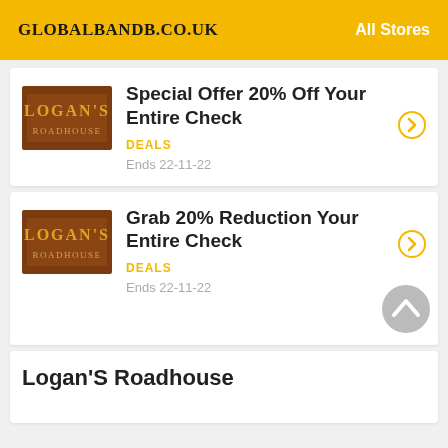GLOBALBANDB.CO.UK   All Stores
Special Offer 20% Off Your Entire Check
DEALS
Ends 22-11-22
Grab 20% Reduction Your Entire Check
DEALS
Ends 22-11-22
Logan'S Roadhouse